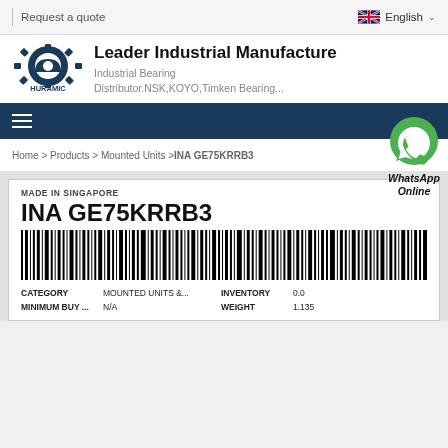Request a quote | English
Leader Industrial Manufacture
Industrial Bearing Distributor.NSK,KOYO,Timken Bearing...
Home > Products > Mounted Units >INA GE75KRRB3
[Figure (other): WhatsApp Online button with green phone icon]
MADE IN SINGAPORE
INA GE75KRRB3
[Figure (other): Product barcode for INA GE75KRRB3]
| CATEGORY |  | INVENTORY |  |
| --- | --- | --- | --- |
| CATEGORY | MOUNTED UNITS &... | INVENTORY | 0.0 |
| MINIMUM BUY ... | N/A | WEIGHT | 1.135 |